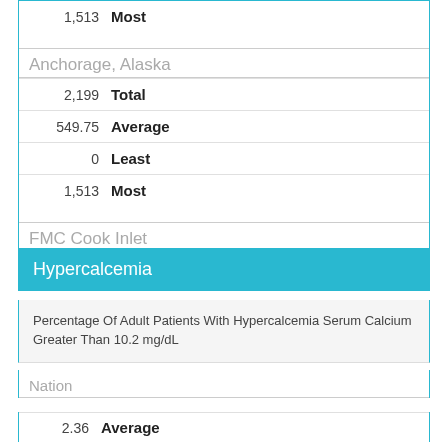| Value | Label |
| --- | --- |
| 1,513 | Most |
| Anchorage, Alaska |  |
| 2,199 | Total |
| 549.75 | Average |
| 0 | Least |
| 1,513 | Most |
| FMC Cook Inlet |  |
| 341 | FMC Cook Inlet |
Hypercalcemia
Percentage Of Adult Patients With Hypercalcemia Serum Calcium Greater Than 10.2 mg/dL
Nation
2.36   Average